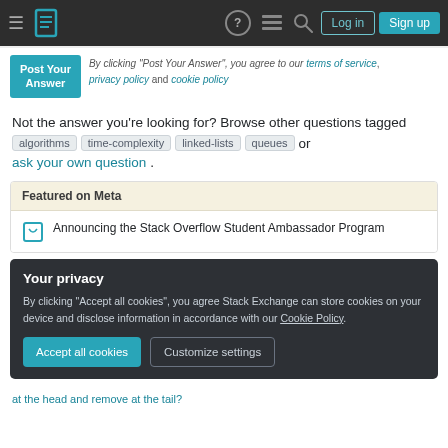Stack Overflow navigation bar with Log in and Sign up buttons
Post Your Answer — By clicking "Post Your Answer", you agree to our terms of service, privacy policy and cookie policy
Not the answer you're looking for? Browse other questions tagged algorithms time-complexity linked-lists queues or ask your own question.
Featured on Meta
Announcing the Stack Overflow Student Ambassador Program
Your privacy
By clicking "Accept all cookies", you agree Stack Exchange can store cookies on your device and disclose information in accordance with our Cookie Policy.
Accept all cookies    Customize settings
at the head and remove at the tail?